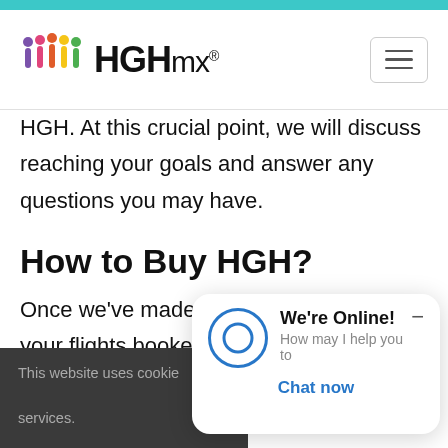[Figure (logo): HGHmx logo with colorful human figures and HGHmx text]
HGH. At this crucial point, we will discuss reaching your goals and answer any questions you may have.
How to Buy HGH?
Once we've made contact and you have your flights booked, the pr…
This website uses cookie… services.
[Figure (screenshot): Live chat widget showing 'We're Online! How may I help you to… Chat now']